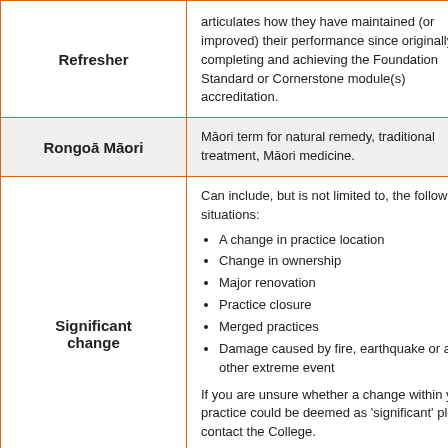| Term | Definition |
| --- | --- |
| Refresher | articulates how they have maintained (or improved) their performance since originally completing and achieving the Foundation Standard or Cornerstone module(s) accreditation. |
| Rongoā Māori | Māori term for natural remedy, traditional treatment, Māori medicine. |
| Significant change | Can include, but is not limited to, the following situations:
• A change in practice location
• Change in ownership
• Major renovation
• Practice closure
• Merged practices
• Damage caused by fire, earthquake or any other extreme event

If you are unsure whether a change within your practice could be deemed as 'significant' please contact the College. |
|  | Māori term for People of the Land, a term |